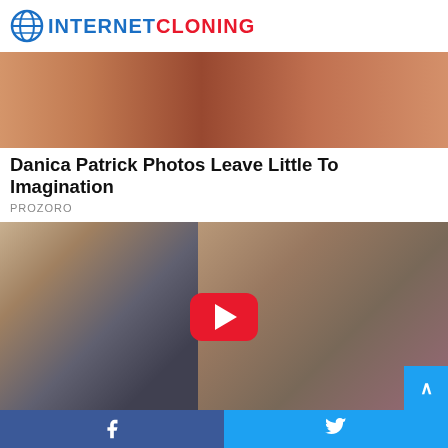INTERNET CLONING
[Figure (photo): Top cropped photo showing people, warm tones]
Danica Patrick Photos Leave Little To Imagination
PROZORO
[Figure (photo): Video thumbnail showing two people with a YouTube-style red play button overlay]
Shocking Pelosi Moments Photographers Shoud...
Facebook share | Twitter share